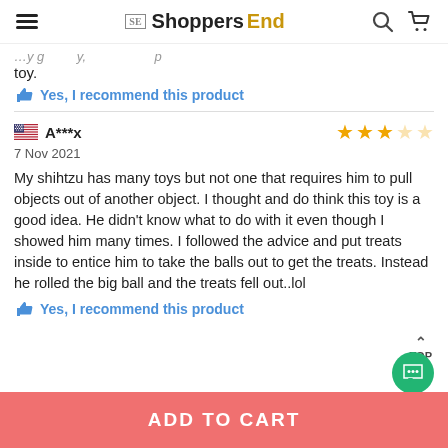ShoppersEnd
toy.
Yes, I recommend this product
A***x  7 Nov 2021  3 stars
My shihtzu has many toys but not one that requires him to pull objects out of another object. I thought and do think this toy is a good idea. He didn't know what to do with it even though I showed him many times. I followed the advice and put treats inside to entice him to take the balls out to get the treats. Instead he rolled the big ball and the treats fell out..lol
Yes, I recommend this product
ADD TO CART